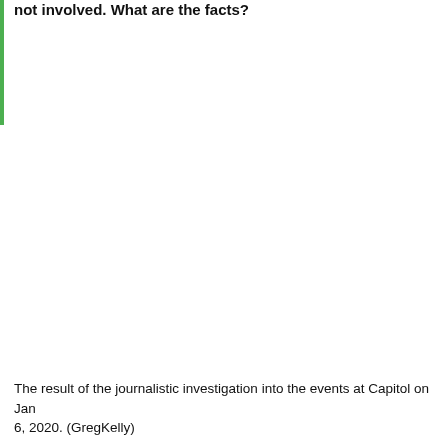not involved. What are the facts?
The result of the journalistic investigation into the events at Capitol on Jan 6, 2020. (GregKelly)